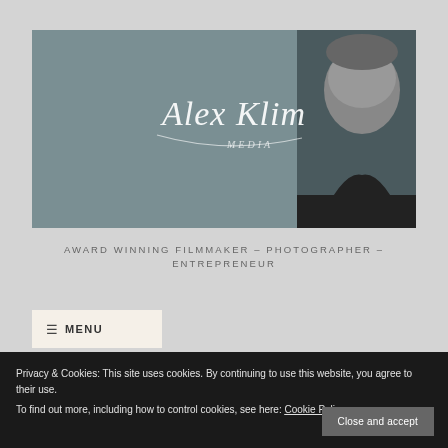[Figure (photo): Header banner with grey-blue background, signature 'Alex Klim' in white cursive script overlaid, and a black-and-white photo of a man's face on the right side]
AWARD WINNING FILMMAKER – PHOTOGRAPHER – ENTREPRENEUR
≡ MENU
Privacy & Cookies: This site uses cookies. By continuing to use this website, you agree to their use.
To find out more, including how to control cookies, see here: Cookie Policy
Close and accept